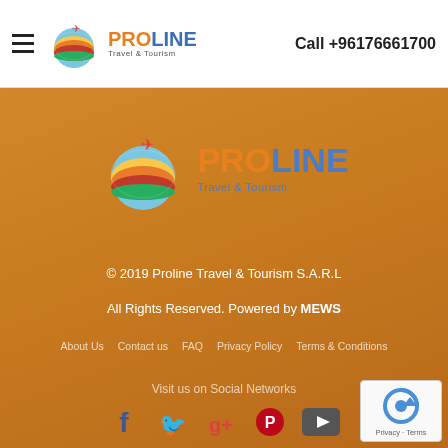Proline Travel & Tourism — Call +96176661700
[Figure (logo): Proline Travel & Tourism logo centered on orange background]
© 2019 Proline Travel & Tourism S.A.R.L
All Rights Reserved. Powered by MEWS
About Us   Contact us   FAQ   Privacy Policy   Terms & Conditions
Visit us on Social Networks
[Figure (infographic): Social media icons: Facebook, Twitter, Google+, Pinterest, YouTube]